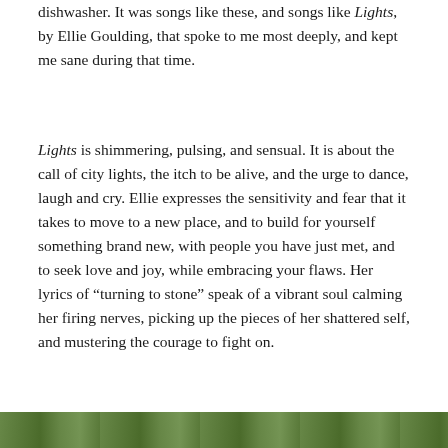dishwasher. It was songs like these, and songs like Lights, by Ellie Goulding, that spoke to me most deeply, and kept me sane during that time.
Lights is shimmering, pulsing, and sensual. It is about the call of city lights, the itch to be alive, and the urge to dance, laugh and cry. Ellie expresses the sensitivity and fear that it takes to move to a new place, and to build for yourself something brand new, with people you have just met, and to seek love and joy, while embracing your flaws. Her lyrics of “turning to stone” speak of a vibrant soul calming her firing nerves, picking up the pieces of her shattered self, and mustering the courage to fight on.
[Figure (photo): Bottom strip showing a green outdoor/nature scene, partially visible at the bottom of the page.]